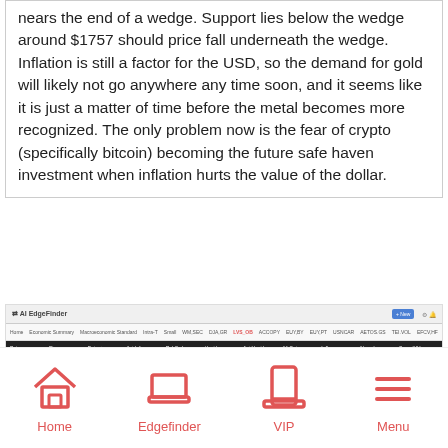nears the end of a wedge. Support lies below the wedge around $1757 should price fall underneath the wedge. Inflation is still a factor for the USD, so the demand for gold will likely not go anywhere any time soon, and it seems like it is just a matter of time before the metal becomes more recognized. The only problem now is the fear of crypto (specifically bitcoin) becoming the future safe haven investment when inflation hurts the value of the dollar.
[Figure (screenshot): Screenshot of AI EdgeFinder web application showing navigation bar and table header]
[Figure (infographic): Mobile app navigation bar with four icons: Home, Edgefinder, VIP, Menu — icons and labels in coral/red color]